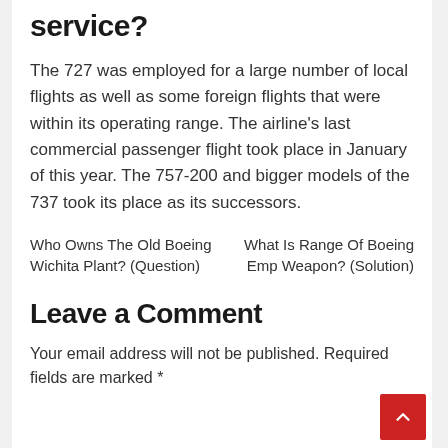service?
The 727 was employed for a large number of local flights as well as some foreign flights that were within its operating range. The airline's last commercial passenger flight took place in January of this year. The 757-200 and bigger models of the 737 took its place as its successors.
Who Owns The Old Boeing Wichita Plant? (Question)
What Is Range Of Boeing Emp Weapon? (Solution)
Leave a Comment
Your email address will not be published. Required fields are marked *